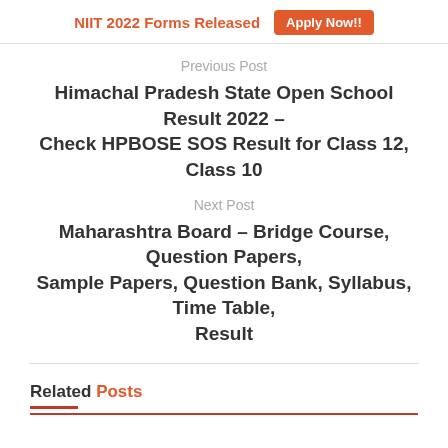NIIT 2022 Forms Released  Apply Now!!
Previous Post
Himachal Pradesh State Open School Result 2022 – Check HPBOSE SOS Result for Class 12, Class 10
Next Post
Maharashtra Board – Bridge Course, Question Papers, Sample Papers, Question Bank, Syllabus, Time Table, Result
Related Posts